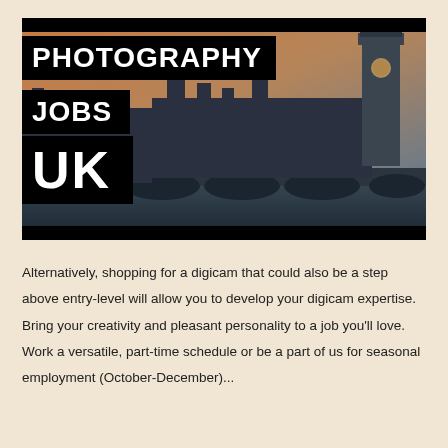[Figure (photo): Photography Jobs UK banner image showing Big Ben and Houses of Parliament in London with bold text overlays: 'PHOTOGRAPHY', 'JOBS', 'UK' on black backgrounds. Black bars at top and bottom of image.]
Alternatively, shopping for a digicam that could also be a step above entry-level will allow you to develop your digicam expertise. Bring your creativity and pleasant personality to a job you'll love. Work a versatile, part-time schedule or be a part of us for seasonal employment (October-December)...